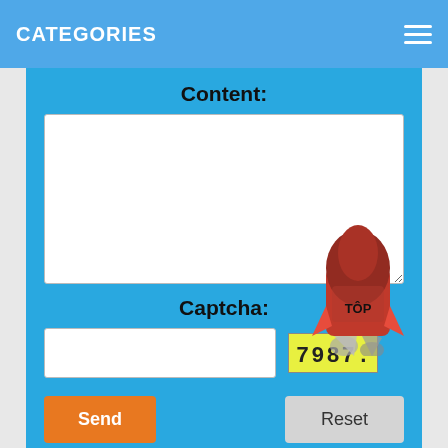CATEGORIES
Content:
Captcha:
[Figure (illustration): Cartoon rocket ship colored red/pink with 'TÔP' text on its body, with gray exhaust flames at the bottom, floating over the form area]
Send
Reset